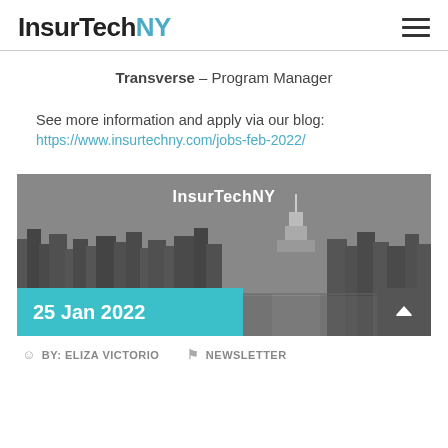InsurTechNY
Transverse – Program Manager
See more information and apply via our blog:
https://www.insurtechny.com/jobs-feb-2022/
[Figure (photo): InsurTechNY banner image showing a grayscale New York City skyline at night with the text 'InsurTechNY' and a teal date badge reading '25 Jan 2022']
BY: ELIZA VICTORIO   NEWSLETTER